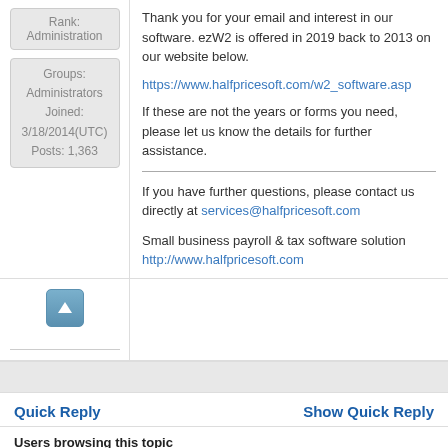Rank: Administration
Groups: Administrators
Joined: 3/18/2014(UTC)
Posts: 1,363
Thank you for your email and interest in our software. ezW2 is offered in 2019 back to 2013 on our website below.
https://www.halfpricesoft.com/w2_software.asp
If these are not the years or forms you need, please let us know the details for further assistance.
If you have further questions, please contact us directly at services@halfpricesoft.com

Small business payroll & tax software solution
http://www.halfpricesoft.com
[Figure (other): Up arrow button (scroll to top)]
Quick Reply
Show Quick Reply
Users browsing this topic